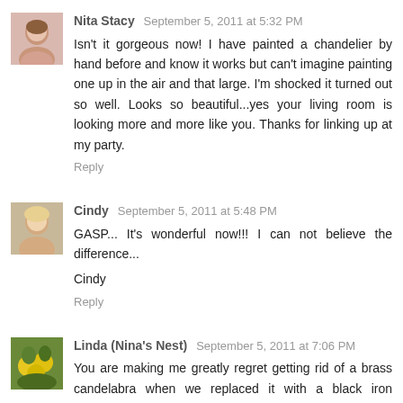[Figure (photo): Avatar photo of Nita Stacy, a woman with short hair smiling]
Nita Stacy September 5, 2011 at 5:32 PM
Isn't it gorgeous now! I have painted a chandelier by hand before and know it works but can't imagine painting one up in the air and that large. I'm shocked it turned out so well. Looks so beautiful...yes your living room is looking more and more like you. Thanks for linking up at my party.
Reply
[Figure (photo): Avatar photo of Cindy, a woman with blonde hair]
Cindy September 5, 2011 at 5:48 PM
GASP... It's wonderful now!!! I can not believe the difference...
Cindy
Reply
[Figure (photo): Avatar photo of Linda (Nina's Nest), flowers/sunflowers]
Linda (Nina's Nest) September 5, 2011 at 7:06 PM
You are making me greatly regret getting rid of a brass candelabra when we replaced it with a black iron candelabra.